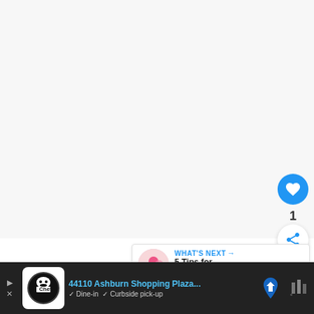[Figure (screenshot): Large white/light gray empty area representing a blank image or placeholder at top of page]
[Figure (infographic): Blue circular heart/like button, like count '1', and white circular share button on right side]
[Figure (infographic): What's Next panel showing a thumbnail image and text '5 Tips for Organising ...' with blue 'WHAT'S NEXT ->' label]
The point you need to worry about here is whether the casino sites are defrauding you. Although blockchain tec... with ...th where to...
[Figure (screenshot): Bottom advertisement bar with dark background showing '44110 Ashburn Shopping Plaza...' address in blue, restaurant icon, navigation map pin icon, weather icon, Dine-in and Curbside pick-up options]